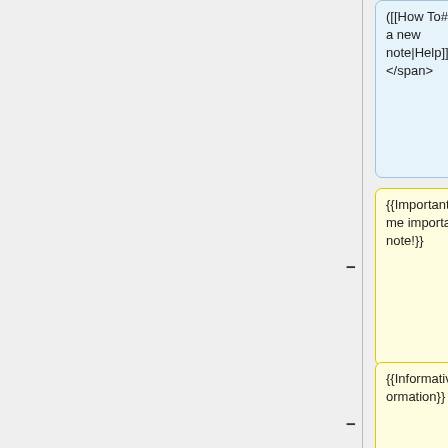([[How To#Add a new note|Help]]) </span>
{{Important|Some important note!}}
</div>
{{Informative|Information}}
| i
| #E5EEF8
}}
</div>
</div>
<!-- page modifications -->